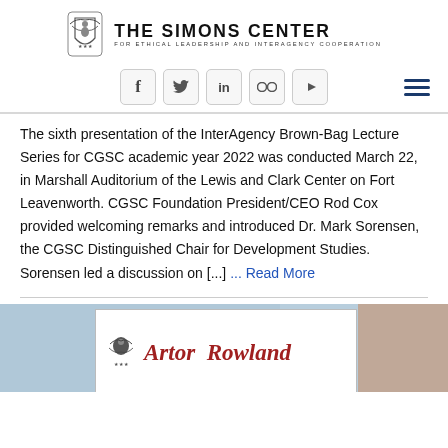THE SIMONS CENTER FOR ETHICAL LEADERSHIP AND INTERAGENCY COOPERATION
[Figure (logo): The Simons Center logo with eagle emblem and text: THE SIMONS CENTER FOR ETHICAL LEADERSHIP AND INTERAGENCY COOPERATION]
[Figure (infographic): Social media icon buttons: Facebook, Twitter, LinkedIn, Flickr, YouTube; and a hamburger menu icon on the right]
The sixth presentation of the InterAgency Brown-Bag Lecture Series for CGSC academic year 2022 was conducted March 22, in Marshall Auditorium of the Lewis and Clark Center on Fort Leavenworth. CGSC Foundation President/CEO Rod Cox provided welcoming remarks and introduced Dr. Mark Sorensen, the CGSC Distinguished Chair for Development Studies. Sorensen led a discussion on [...] ... Read More
[Figure (illustration): Bottom image showing a decorative background with a white card overlay containing a small emblem and partial red italic text reading 'Artor Rowland' or similar]